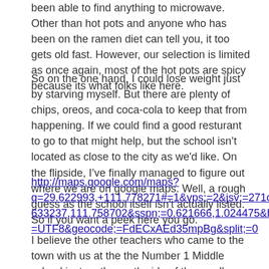been able to find anything to microwave. Other than hot pots and anyone who has been on the ramen diet can tell you, it too gets old fast. However, our selection is limited as once again, most of the hot pots are spicy because its what folks like here.
So on the one hand, I could lose weight just by starving myself. But there are plenty of chips, oreos, and coca-cola to keep that from happening. If we could find a good resturant to go to that might help, but the school isn't located as close to the city as we'd like. On the flipside, I've finally managed to figure out where we are on google maps. Well, a rough guess as the school itself isn't actually listed. So if you want a peek here you go.
http://maps.google.com/maps?q=29.622993,+111.778271#=1&vps;=2&jsv;=271c&sll;=29.633237,111.758702&sspn;=0.621666,1.024475&hl;=en&ie;=UTF8&geocode;=FdECxAEd35mpBg&split;=0
I believe the other teachers who came to the town with us at the the Number 1 Middle school just on the north side of the small